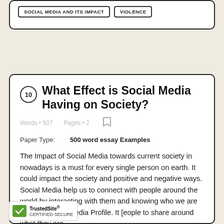SOCIAL MEDIA AND ITS IMPACT
VIOLENCE
10 What Effect is Social Media Having on Society?
Words • 507    Pages • 2
Paper Type:    500 word essay Examples
The Impact of Social Media towards current society in nowadays is a must for every single person on earth. It could impact the society and positive and negative ways. Social Media help us to connect with people around the world by interacting with them and knowing who we are thru our Social Media Profile. It [eople to share around what they are